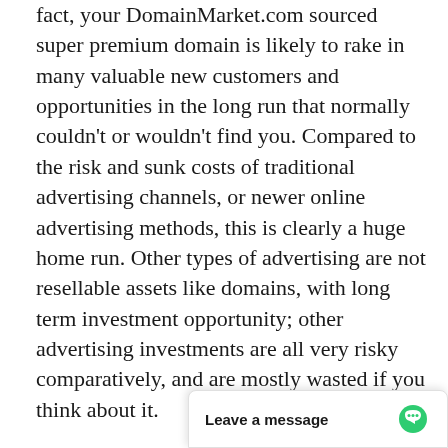fact, your DomainMarket.com sourced super premium domain is likely to rake in many valuable new customers and opportunities in the long run that normally couldn't or wouldn't find you. Compared to the risk and sunk costs of traditional advertising channels, or newer online advertising methods, this is clearly a huge home run. Other types of advertising are not resellable assets like domains, with long term investment opportunity; other advertising investments are all very risky comparatively, and are mostly wasted if you think about it.
First come, first served. Don't miss this once in a lifetime opportunity to be #1. The first person or company to secure vivesvoix.com from this site can control it forever, to the exclusion of all others. It will become out of our co[ntrol once it's] first in Google! All tha[t matters is being]
[Figure (screenshot): Chat widget overlay with 'Leave a message' text and a green speech bubble icon]